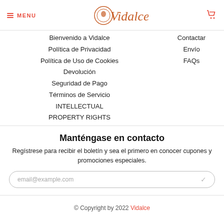MENU | Vidalce [logo] [cart]
Bienvenido a Vidalce
Política de Privacidad
Política de Uso de Cookies
Devolución
Seguridad de Pago
Términos de Servicio
INTELLECTUAL PROPERTY RIGHTS
Contactar
Envío
FAQs
Manténgase en contacto
Regístrese para recibir el boletín y sea el primero en conocer cupones y promociones especiales.
email@example.com
© Copyright by 2022 Vidalce